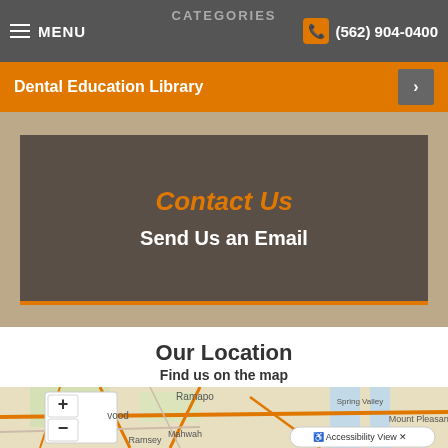CATEGORIES   MENU   (562) 904-0400
Dental Education Library
Contact Us
Send Us an Email
Our Location
Find us on the map
[Figure (map): Interactive map showing area including Ramapo, Spring Valley, Mount Pleasant, Mahwah, Ramsey, with zoom controls (+/-) and Accessibility View button]